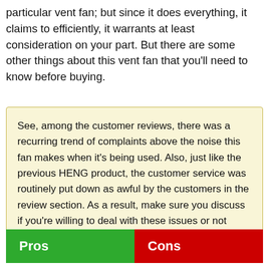particular vent fan; but since it does everything, it claims to efficiently, it warrants at least consideration on your part. But there are some other things about this vent fan that you'll need to know before buying.
See, among the customer reviews, there was a recurring trend of complaints above the noise this fan makes when it's being used. Also, just like the previous HENG product, the customer service was routinely put down as awful by the customers in the review section. As a result, make sure you discuss if you're willing to deal with these issues or not before putting this model into your Amazon cart.
| Pros | Cons |
| --- | --- |